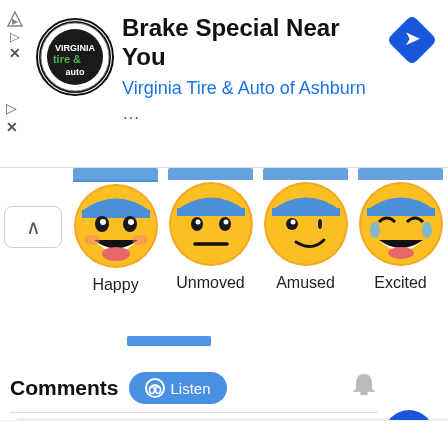[Figure (screenshot): Advertisement banner for Virginia Tire & Auto of Ashburn with logo, title 'Brake Special Near You', subtitle 'Virginia Tire & Auto of Ashburn ...', and a blue diamond navigation icon.]
[Figure (illustration): Row of emoji reaction faces: Happy (laughing), Unmoved (neutral), Amused (smirk), Excited (laughing with tears), Ang[ry] (partially visible red face). Each has a blue percentage bar above and a label below.]
Comments
[Figure (screenshot): Listen button with headphone icon, bell notification icon, and social sharing/action buttons on the right side: headphones (blue), Facebook (blue), Twitter (blue), WhatsApp (green), laughing emoji, red comment bubble button.]
Be the first to comment